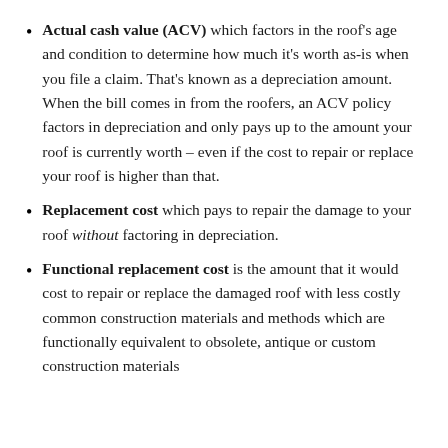Actual cash value (ACV) which factors in the roof's age and condition to determine how much it's worth as-is when you file a claim. That's known as a depreciation amount. When the bill comes in from the roofers, an ACV policy factors in depreciation and only pays up to the amount your roof is currently worth – even if the cost to repair or replace your roof is higher than that.
Replacement cost which pays to repair the damage to your roof without factoring in depreciation.
Functional replacement cost is the amount that it would cost to repair or replace the damaged roof with less costly common construction materials and methods which are functionally equivalent to obsolete, antique or custom construction materials